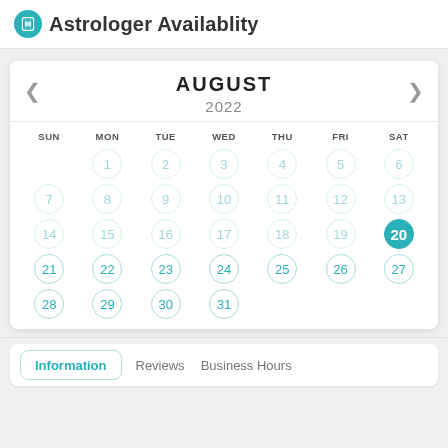Astrologer Availablity
[Figure (other): August 2022 calendar widget with navigation arrows. Days 1-20 shown with light teal circles (unavailable/past), day 20 (Saturday) highlighted with filled teal circle (selected/today). Days 21-31 shown in brighter teal (available). Day 20 is highlighted as selected.]
Information   Reviews   Business Hours